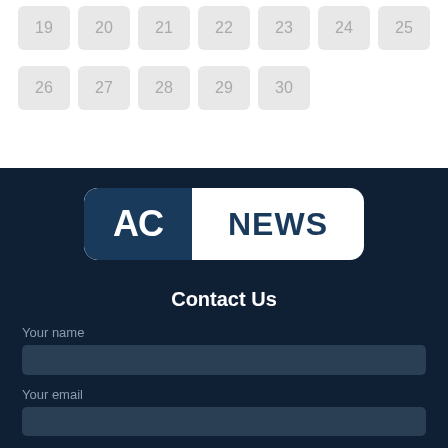[Figure (other): Calendar grid showing days 19-25 in first row and 26-30 in second row, rendered as rounded rectangle day cells with gray background]
[Figure (logo): AC NEWS logo: white rounded rectangle with dark navy left panel containing white bold 'AC' text and white right panel with navy bold 'NEWS' text]
Contact Us
Your name
Your email